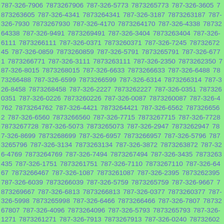787-326-7906 7873267906 787-326-5773 7873265773 787-326-3605 7873263605 787-326-4341 7873264341 787-326-3187 7873263187 787-326-7930 7873267930 787-326-4170 7873264170 787-326-4338 7873264338 787-326-9491 7873269491 787-326-3404 7873263404 787-326-6111 7873266111 787-326-0371 7873260371 787-326-7245 7873267245 787-326-0859 7873260859 787-326-5791 7873265791 787-326-6771 7873266771 787-326-3111 7873263111 787-326-2350 7873262350 787-326-8015 7873268015 787-326-6633 7873266633 787-326-6488 7873266488 787-326-6599 7873266599 787-326-6314 7873266314 787-326-8458 7873268458 787-326-2227 7873262227 787-326-0351 7873260351 787-326-0226 7873260226 787-326-0087 7873260087 787-326-4762 7873264762 787-326-4421 7873264421 787-326-6562 7873266562 787-326-6560 7873266560 787-326-7715 7873267715 787-326-7728 7873267728 787-326-5073 7873265073 787-326-2947 7873262947 787-326-8699 7873268699 787-326-6957 7873266957 787-326-5796 7873265796 787-326-3134 7873263134 787-326-3872 7873263872 787-326-4769 7873264769 787-326-7494 7873267494 787-326-3435 7873263435 787-326-1751 7873261751 787-326-7110 7873267110 787-326-6467 7873266467 787-326-1087 7873261087 787-326-2395 7873262395 787-326-6039 7873266039 787-326-5759 7873265759 787-326-9667 7873269667 787-326-6813 7873266813 787-326-0377 7873260377 787-326-5998 7873265998 787-326-6466 7873266466 787-326-7807 7873267807 787-326-4096 7873264096 787-326-5793 7873265793 787-326-1271 7873261271 787-326-7913 7873267913 787-326-0240 7873260240 787-326-5